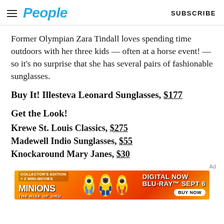People | SUBSCRIBE
Former Olympian Zara Tindall loves spending time outdoors with her three kids — often at a horse event! — so it's no surprise that she has several pairs of fashionable sunglasses.
Buy It! Illesteva Leonard Sunglasses, $177
Get the Look!
Krewe St. Louis Classics, $275
Madewell Indio Sunglasses, $55
Knockaround Mary Janes, $30
[Figure (other): Minions: The Rise of Gru advertisement banner — Collector's Edition + 2 Mini-Movies, Digital Now, Blu-Ray Sept 6, Buy Now button]